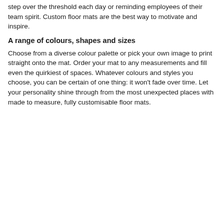crisp and clear. Seeing your loved ones' faces as you step over the threshold each day or reminding employees of their team spirit. Custom floor mats are the best way to motivate and inspire.
A range of colours, shapes and sizes
Choose from a diverse colour palette or pick your own image to print straight onto the mat. Order your mat to any measurements and fill even the quirkiest of spaces. Whatever colours and styles you choose, you can be certain of one thing: it won't fade over time. Let your personality shine through from the most unexpected places with made to measure, fully customisable floor mats.